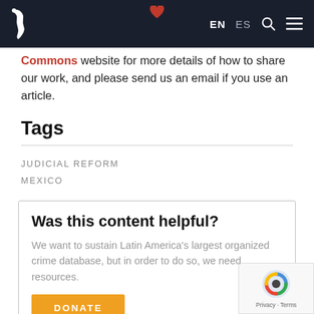EN  ES [navigation bar with logo and icons]
Commons website for more details of how to share our work, and please send us an email if you use an article.
Tags
JUDICIAL REFORM
MEXICO
Was this content helpful?
We want to sustain Latin America's largest organized crime database, but in order to do so, we need resources.
DONATE